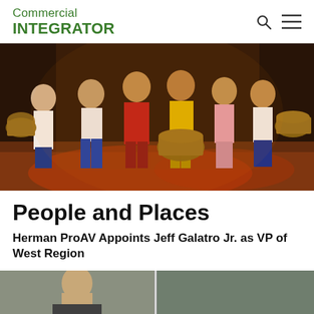Commercial INTEGRATOR
[Figure (photo): Theater performers on stage carrying large woven baskets, dressed in colorful costumes including blue, red, yellow, and pink outfits, with dramatic stage lighting.]
People and Places
Herman ProAV Appoints Jeff Galatro Jr. as VP of West Region
[Figure (photo): Portrait of a man, partially visible at the bottom of the page, appears to be a headshot used for the article about Jeff Galatro Jr.]